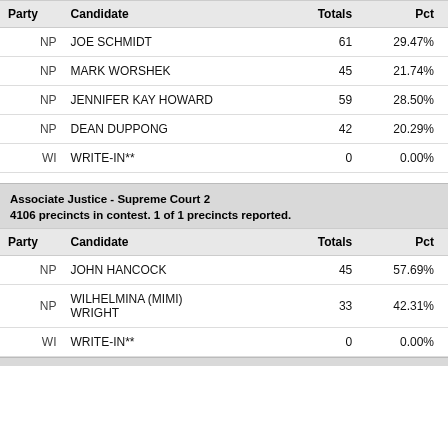| Party | Candidate | Totals | Pct |
| --- | --- | --- | --- |
| NP | JOE SCHMIDT | 61 | 29.47% |
| NP | MARK WORSHEK | 45 | 21.74% |
| NP | JENNIFER KAY HOWARD | 59 | 28.50% |
| NP | DEAN DUPPONG | 42 | 20.29% |
| WI | WRITE-IN** | 0 | 0.00% |
Associate Justice - Supreme Court 2
4106 precincts in contest. 1 of 1 precincts reported.
| Party | Candidate | Totals | Pct |
| --- | --- | --- | --- |
| NP | JOHN HANCOCK | 45 | 57.69% |
| NP | WILHELMINA (MIMI) WRIGHT | 33 | 42.31% |
| WI | WRITE-IN** | 0 | 0.00% |